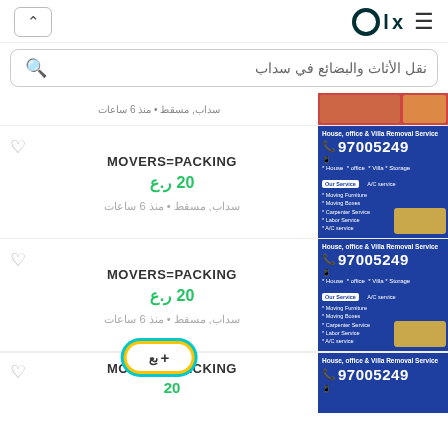OLX
نقل الأثاث والبضائع في سداب
سداب, مسقط • منذ 6 ساعات
MOVERS=PACKING
20 ر.ع
سداب, مسقط • منذ 6 ساعات
MOVERS=PACKING
20 ر.ع
سداب, مسقط • منذ 6 ساعات
MOVERS=PACKING